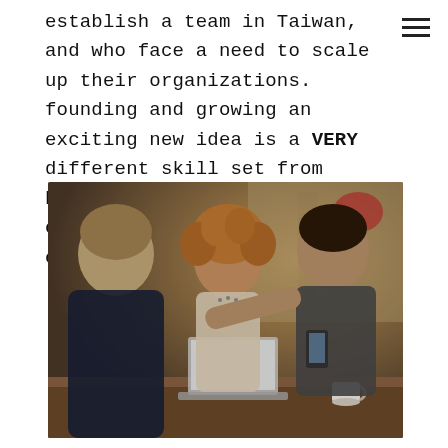establish a team in Taiwan, and who face a need to scale up their organizations. founding and growing an exciting new idea is a VERY different skill set from handling all the "necessary evils" of accounting and HR compliance.
[Figure (photo): Three people (two men and a woman) collaborating around a laptop at a cafe table. One man points at a laptop screen while another holds a smartphone. A coffee cup is visible on the table.]